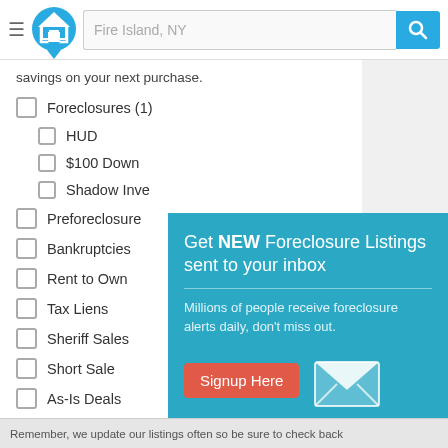Fire Island, NY
savings on your next purchase.
Foreclosures (1)
HUD
$100 Down
Shadow Inve...
Preforeclosure...
Bankruptcies
Rent to Own
Tax Liens
Sheriff Sales
Short Sale
As-Is Deals
Fixer Uppers
City Owned
[Figure (infographic): Popup modal with teal background: 'Get NEW Foreclosure Listings sent to your inbox' heading, body text 'Millions of people receive foreclosure alerts daily, don’t miss out.', a red 'Signup Here' button, envelope icon, and links 'No Thanks | Remind Me Later']
Remember, we update our listings often so be sure to check back